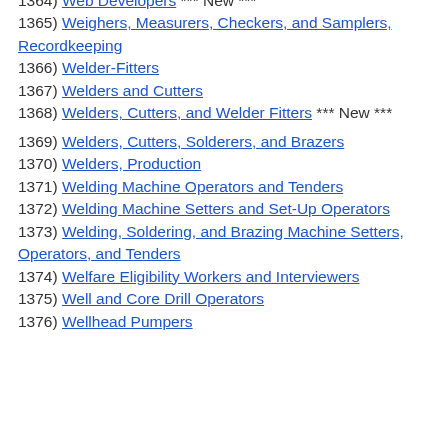1364) Web Developers *** New ***
1365) Weighers, Measurers, Checkers, and Samplers, Recordkeeping
1366) Welder-Fitters
1367) Welders and Cutters
1368) Welders, Cutters, and Welder Fitters *** New ***
1369) Welders, Cutters, Solderers, and Brazers
1370) Welders, Production
1371) Welding Machine Operators and Tenders
1372) Welding Machine Setters and Set-Up Operators
1373) Welding, Soldering, and Brazing Machine Setters, Operators, and Tenders
1374) Welfare Eligibility Workers and Interviewers
1375) Well and Core Drill Operators
1376) Wellhead Pumpers